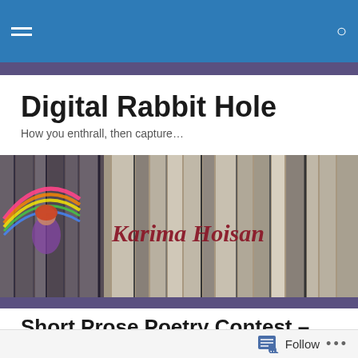Digital Rabbit Hole — navigation bar
Digital Rabbit Hole
How you enthrall, then capture…
[Figure (photo): Banner image showing books/records spines with text 'Karima Hoisan' in red italic script overlaid, and a fantasy-themed illustration of a woman on the left side]
Short Prose Poetry Contest – Honorable Mention
Poetry Contest Woman: Splendor and
Follow